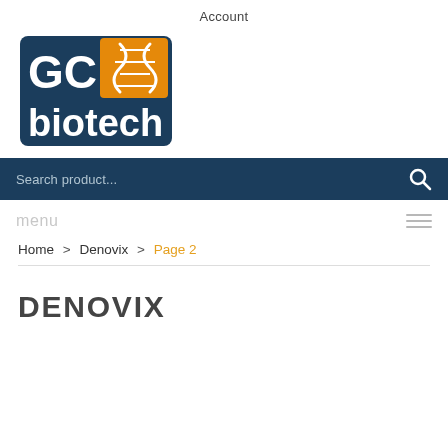Account
[Figure (logo): GC Biotech logo: dark blue square background with 'GC' in white bold letters and an orange DNA double helix graphic above 'biotech' text in white]
[Figure (other): Search bar with dark navy background, placeholder text 'Search product...' and a search icon on the right]
[Figure (other): Menu bar with light gray 'menu' text on left and hamburger icon on right]
Home > Denovix > Page 2
[Figure (logo): Denovix brand logo: bold dark gray uppercase text 'DENOVIX']